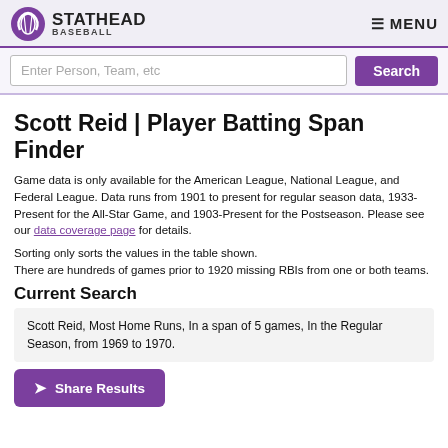STATHEAD BASEBALL
Enter Person, Team, etc
Scott Reid | Player Batting Span Finder
Game data is only available for the American League, National League, and Federal League. Data runs from 1901 to present for regular season data, 1933-Present for the All-Star Game, and 1903-Present for the Postseason. Please see our data coverage page for details.
Sorting only sorts the values in the table shown.
There are hundreds of games prior to 1920 missing RBIs from one or both teams.
Current Search
Scott Reid, Most Home Runs, In a span of 5 games, In the Regular Season, from 1969 to 1970.
➤ Share Results